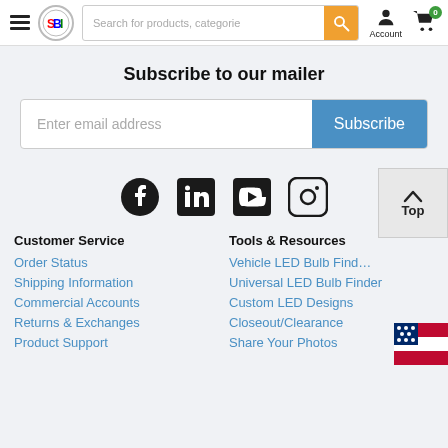Navigation header with hamburger menu, SBI logo, search bar, account and cart icons
Subscribe to our mailer
Enter email address | Subscribe
[Figure (illustration): Social media icons: Facebook, LinkedIn, YouTube, Instagram]
Customer Service
Order Status
Shipping Information
Commercial Accounts
Returns & Exchanges
Product Support
Tools & Resources
Vehicle LED Bulb Finder
Universal LED Bulb Finder
Custom LED Designs
Closeout/Clearance
Share Your Photos